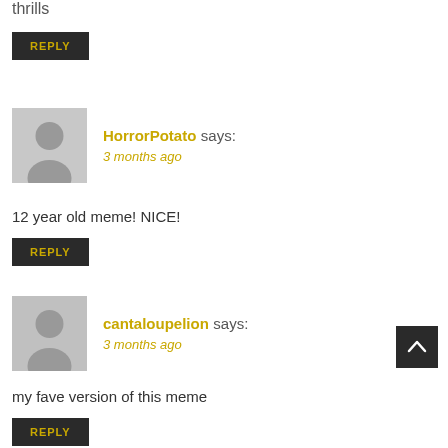thrills
REPLY
HorrorPotato says:
3 months ago
12 year old meme! NICE!
REPLY
cantaloupelion says:
3 months ago
my fave version of this meme
REPLY